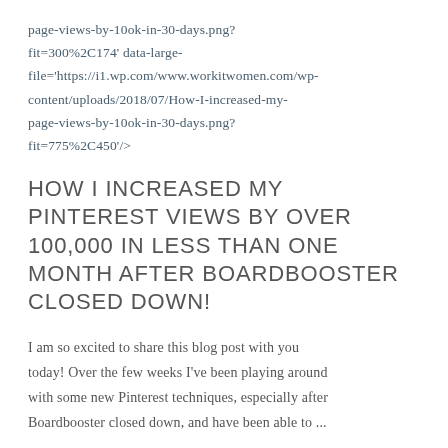page-views-by-100k-in-30-days.png? fit=300%2C174' data-large-file='https://i1.wp.com/www.workitwomen.com/wp-content/uploads/2018/07/How-I-increased-my-page-views-by-100k-in-30-days.png? fit=775%2C450'/>
HOW I INCREASED MY PINTEREST VIEWS BY OVER 100,000 IN LESS THAN ONE MONTH AFTER BOARDBOOSTER CLOSED DOWN!
I am so excited to share this blog post with you today! Over the few weeks I've been playing around with some new Pinterest techniques, especially after Boardbooster closed down, and have been able to ...